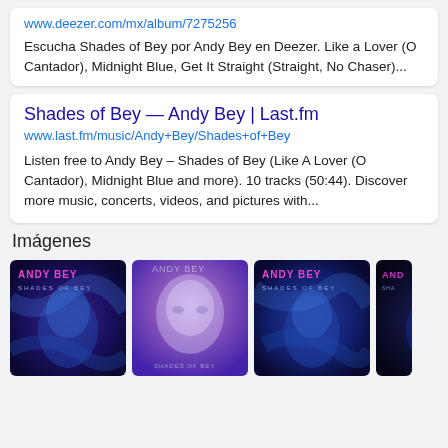www.deezer.com/mx/album/7275256
Escucha Shades of Bey por Andy Bey en Deezer. Like a Lover (O Cantador), Midnight Blue, Get It Straight (Straight, No Chaser)...
Shades of Bey — Andy Bey | Last.fm
www.last.fm/music/Andy+Bey/Shades+of+Bey
Listen free to Andy Bey – Shades of Bey (Like A Lover (O Cantador), Midnight Blue and more). 10 tracks (50:44). Discover more music, concerts, videos, and pictures with...
Imágenes
[Figure (photo): Album cover for Andy Bey - Shades of Bey, blue toned portrait image with pink text]
[Figure (photo): Album cover for Andy Bey - Shades of Bey, purple/blue blurred face]
[Figure (photo): Album cover for Andy Bey - Shades of Bey, blue toned portrait]
[Figure (photo): Album cover for Andy Bey - Shades of Bey, dark version partially visible]